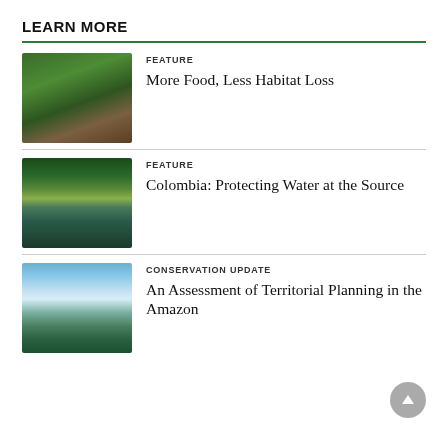LEARN MORE
[Figure (photo): Person harvesting crops in lush green foliage]
FEATURE
More Food, Less Habitat Loss
[Figure (photo): Waterfall in a tropical rainforest with lush green vegetation]
FEATURE
Colombia: Protecting Water at the Source
[Figure (photo): Aerial view of a winding river through green wetland landscape with clouds]
CONSERVATION UPDATE
An Assessment of Territorial Planning in the Amazon